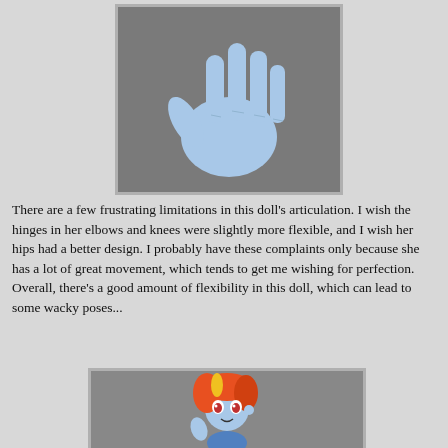[Figure (photo): Close-up photo of a light blue doll hand with five fingers against a gray background]
There are a few frustrating limitations in this doll's articulation.  I wish the hinges in her elbows and knees were slightly more flexible, and I wish her hips had a better design.  I probably have these complaints only because she has a lot of great movement, which tends to get me wishing for perfection.
Overall, there's a good amount of flexibility in this doll, which can lead to some wacky poses...
[Figure (photo): Photo of a Rainbow Dash Equestria Girls doll with blue skin and orange/red hair against a gray background]